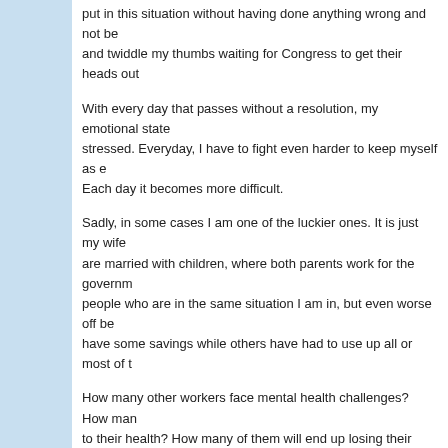put in this situation without having done anything wrong and not be... and twiddle my thumbs waiting for Congress to get their heads out...
With every day that passes without a resolution, my emotional state... stressed. Everyday, I have to fight even harder to keep myself as e... Each day it becomes more difficult.
Sadly, in some cases I am one of the luckier ones. It is just my wife... are married with children, where both parents work for the governm... people who are in the same situation I am in, but even worse off be... have some savings while others have had to use up all or most of t...
How many other workers face mental health challenges? How man... to their health? How many of them will end up losing their lives if th...
These politicians forget, or maybe they do not care, that they are so... beings. People that are hard working dedicated employees with fam... jobs. People who work for the government, for less money than the... they love their country.
Share this: